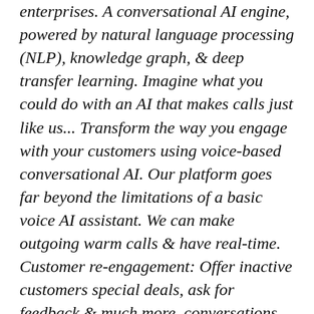enterprises. A conversational AI engine, powered by natural language processing (NLP), knowledge graph, & deep transfer learning. Imagine what you could do with an AI that makes calls just like us... Transform the way you engage with your customers using voice-based conversational AI. Our platform goes far beyond the limitations of a basic voice AI assistant. We can make outgoing warm calls & have real-time. Customer re-engagement: Offer inactive customers special deals, ask for feedback & much more. conversations with your customers. Customer surveys: Improve by getting feedback about your products & services. Wellness check-ins: Check-in before & after surgery, monitor medication use & more. Payment reminders: Send upcoming payment reminders & follow-up on defaulted bills. Introduce new...